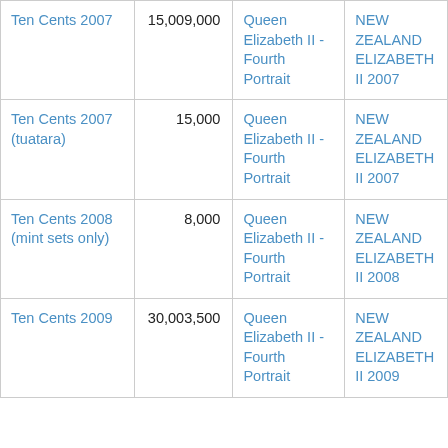| Name | Mintage | Obverse | Reverse |
| --- | --- | --- | --- |
| Ten Cents 2007 | 15,009,000 | Queen Elizabeth II - Fourth Portrait | NEW ZEALAND ELIZABETH II 2007 |
| Ten Cents 2007 (tuatara) | 15,000 | Queen Elizabeth II - Fourth Portrait | NEW ZEALAND ELIZABETH II 2007 |
| Ten Cents 2008 (mint sets only) | 8,000 | Queen Elizabeth II - Fourth Portrait | NEW ZEALAND ELIZABETH II 2008 |
| Ten Cents 2009 | 30,003,500 | Queen Elizabeth II - Fourth Portrait | NEW ZEALAND ELIZABETH II 2009 |